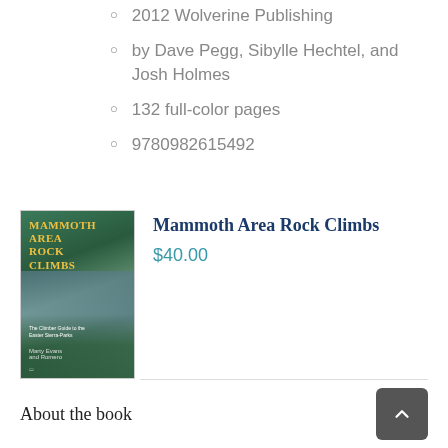2012 Wolverine Publishing
by Dave Pegg, Sibylle Hechtel, and Josh Holmes
132 full-color pages
9780982615492
[Figure (photo): Book cover of Mammoth Area Rock Climbs showing rock climbing scene with a lake and mountain landscape]
Mammoth Area Rock Climbs
$40.00
About the book